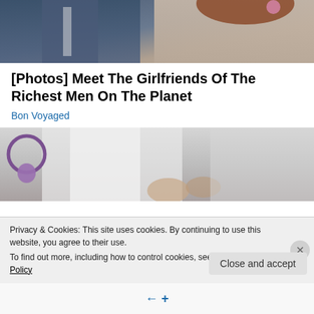[Figure (photo): Two people sitting side by side — a man in a blue suit on the left and a woman in a cream/beige top with a pink hair accessory on the right.]
[Photos] Meet The Girlfriends Of The Richest Men On The Planet
Bon Voyaged
[Figure (photo): Close-up of a medical professional (wearing white coat) holding a stethoscope with a purple/violet color.]
Privacy & Cookies: This site uses cookies. By continuing to use this website, you agree to their use.
To find out more, including how to control cookies, see here: Cookie Policy